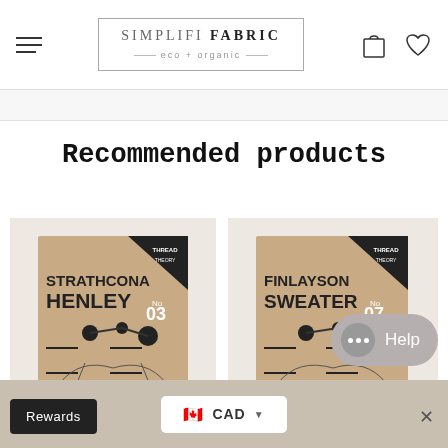SIMPLIFI FABRIC eco + organic
Recommended products
[Figure (photo): Product packaging for Strathcona Henley sewing pattern No. 03 by Thread Theory, shown on kraft cardboard background]
[Figure (photo): Product packaging for Finlayson Sweater sewing pattern No. 07 by Thread Theory, shown on kraft cardboard background]
Rewards
CAD
Help